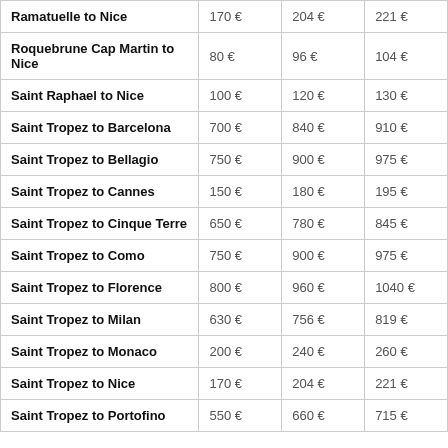| Ramatuelle to Nice | 170 € | 204 € | 221 € |
| Roquebrune Cap Martin to Nice | 80 € | 96 € | 104 € |
| Saint Raphael to Nice | 100 € | 120 € | 130 € |
| Saint Tropez to Barcelona | 700 € | 840 € | 910 € |
| Saint Tropez to Bellagio | 750 € | 900 € | 975 € |
| Saint Tropez to Cannes | 150 € | 180 € | 195 € |
| Saint Tropez to Cinque Terre | 650 € | 780 € | 845 € |
| Saint Tropez to Como | 750 € | 900 € | 975 € |
| Saint Tropez to Florence | 800 € | 960 € | 1040 € |
| Saint Tropez to Milan | 630 € | 756 € | 819 € |
| Saint Tropez to Monaco | 200 € | 240 € | 260 € |
| Saint Tropez to Nice | 170 € | 204 € | 221 € |
| Saint Tropez to Portofino | 550 € | 660 € | 715 € |